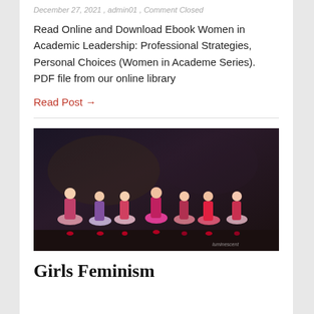December 27, 2021 , admin01 , Comment Closed
Read Online and Download Ebook Women in Academic Leadership: Professional Strategies, Personal Choices (Women in Academe Series). PDF file from our online library
Read Post →
[Figure (photo): Group of young women performers on stage wearing colorful tutus and red high heels in a theatrical performance]
Girls Feminism